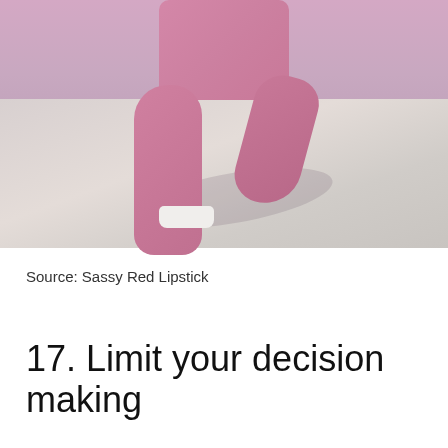[Figure (photo): A person running, wearing pink leggings and white sneakers, photographed from the waist down on a light pavement surface.]
Source: Sassy Red Lipstick
17. Limit your decision making